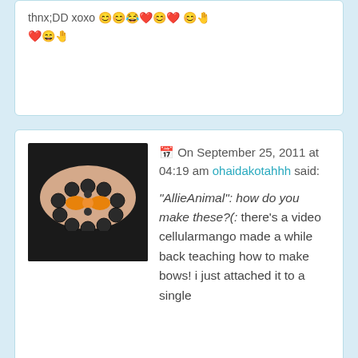thnx;DD xoxo 😊😊😂❤️😊❤️😊🤚
[Figure (photo): Avatar image of a wrist wearing a black and orange beaded bow bracelet]
On September 25, 2011 at 04:19 am ohaidakotahhh said:
"AllieAnimal": how do you make these? (: there's a video cellularmango made a while back teaching how to make bows! i just attached it to a single
| First | Back | 8526 | 8527 | 8528 | 8529 |
| --- | --- | --- | --- | --- | --- |
| 8530 | 8531 | 8532 | 8533 | 8534 | 8535 |